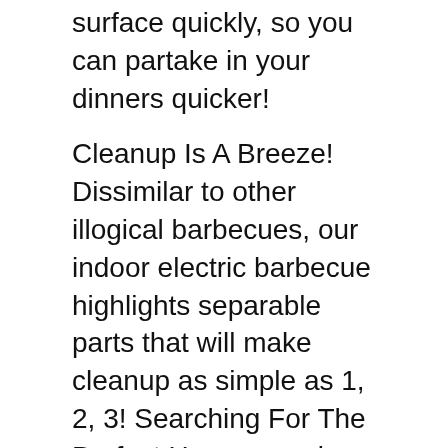surface quickly, so you can partake in your dinners quicker!
Cleanup Is A Breeze! Dissimilar to other illogical barbecues, our indoor electric barbecue highlights separable parts that will make cleanup as simple as 1, 2, 3! Searching For The Perfect Housewarming Gift For Your Loved Ones? Shock them with our top-notch nonstick indoor barbecue and assist them with appreciating scrumptious and low-fat dinners each and every day of the year!
What Are You Waiting For? Click “Add To Cart” Now and Bring The Fun Of An Outdoor